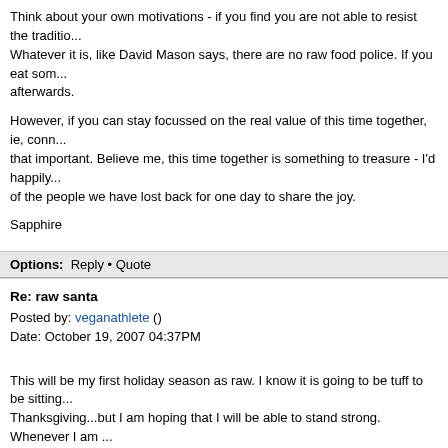Think about your own motivations - if you find you are not able to resist the traditio... Whatever it is, like David Mason says, there are no raw food police. If you eat som... afterwards.

However, if you can stay focussed on the real value of this time together, ie, conn... that important. Believe me, this time together is something to treasure - I'd happily... of the people we have lost back for one day to share the joy.

Sapphire
Options: Reply • Quote
Re: raw santa
Posted by: veganathlete ()
Date: October 19, 2007 04:37PM
This will be my first holiday season as raw. I know it is going to be tuff to be sitting... Thanksgiving...but I am hoping that I will be able to stand strong. Whenever I am... of how bad I felt before being raw. I actually will probably help cook for my family... else it is easier for me to stay out of it...lol) My mom said she is going to make me... THere is no way that I would give up the time with my family because I am raw...t... Thanksgiving meal with my family and have my siblings give me a hard time for b... Good Luck with the holidays ;-)
Options: Reply • Quote
Re: raw santa
Posted by: diamond dave ()
Date: October 19, 2007 08:50PM